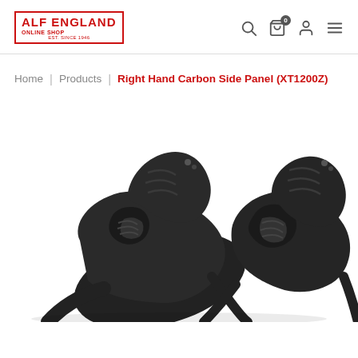ALF ENGLAND ONLINE SHOP EST. SINCE 1946
Home | Products | Right Hand Carbon Side Panel (XT1200Z)
[Figure (photo): Two dark carbon fiber motorcycle side panels (XT1200Z) photographed from above against a white background, showing complex curved shapes with ribbed structural elements.]